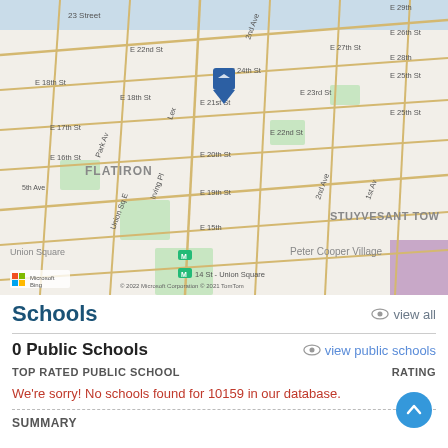[Figure (map): Street map of Manhattan, NYC showing Flatiron district, Union Square, Stuyvesant Town area, Peter Cooper Village. A blue location pin marker is placed near E 23rd St and Lexington Ave. Map credit: © 2022 Microsoft Corporation © 2021 TomTom]
Schools
view all
0 Public Schools
view public schools
TOP RATED PUBLIC SCHOOL
RATING
We're sorry! No schools found for 10159 in our database.
SUMMARY